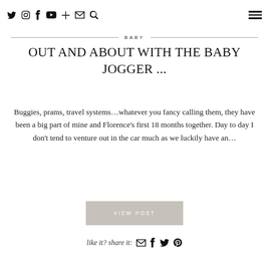social icons: twitter, instagram, facebook, youtube, plus, email, search | hamburger menu
[Figure (photo): Banner/hero image with light beige background at top of page]
BABY
OUT AND ABOUT WITH THE BABY JOGGER ...
Buggies, prams, travel systems…whatever you fancy calling them, they have been a big part of mine and Florence's first 18 months together. Day to day I don't tend to venture out in the car much as we luckily have an…
VIEW POST
like it? share it: